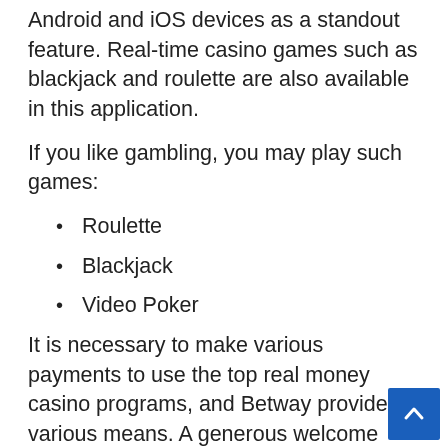Android and iOS devices as a standout feature. Real-time casino games such as blackjack and roulette are also available in this application.
If you like gambling, you may play such games:
Roulette
Blackjack
Video Poker
It is necessary to make various payments to use the top real money casino programs, and Betway provides various means. A generous welcome bonus is offered to new players who download and sign up for the Betway Casino mobile app. the Betway Casino mobile app, you can get a 100% bonus on your first deposit!